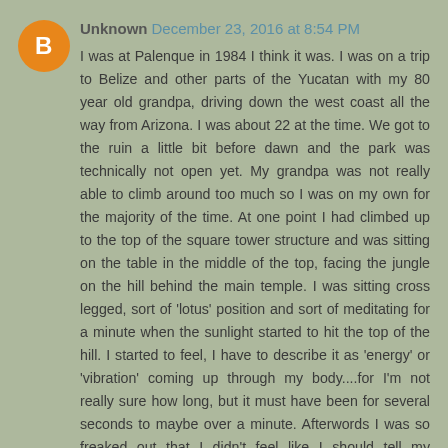[Figure (illustration): Orange circular Blogger avatar icon with white 'B' letter]
Unknown December 23, 2016 at 8:54 PM
I was at Palenque in 1984 I think it was. I was on a trip to Belize and other parts of the Yucatan with my 80 year old grandpa, driving down the west coast all the way from Arizona. I was about 22 at the time. We got to the ruin a little bit before dawn and the park was technically not open yet. My grandpa was not really able to climb around too much so I was on my own for the majority of the time. At one point I had climbed up to the top of the square tower structure and was sitting on the table in the middle of the top, facing the jungle on the hill behind the main temple. I was sitting cross legged, sort of 'lotus' position and sort of meditating for a minute when the sunlight started to hit the top of the hill. I started to feel, I have to describe it as 'energy' or 'vibration' coming up through my body....for I'm not really sure how long, but it must have been for several seconds to maybe over a minute. Afterwords I was so freaked out that I didn't feel like I should tell my grandpa. As I thought about it ongoing, I imagined that perhaps the table was a sacrificial table and that the souls of people